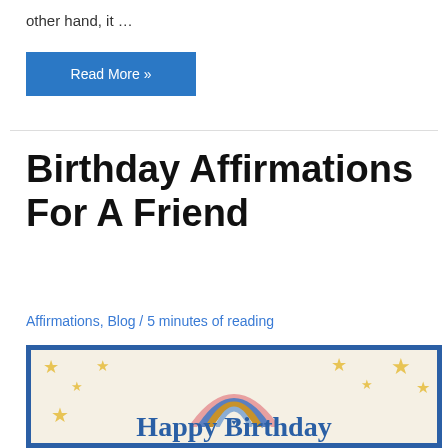other hand, it …
Read More »
Birthday Affirmations For A Friend
Affirmations, Blog / 5 minutes of reading
[Figure (illustration): A birthday card illustration with a colorful rainbow (pink, blue, gold arcs) surrounded by golden stars on a cream/beige background, with 'Happy Birthday' text at the bottom in dark blue.]